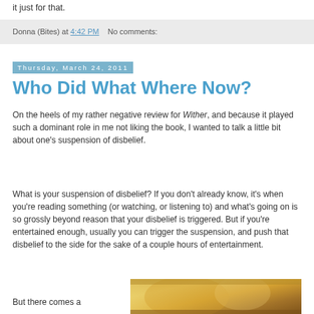it just for that.
Donna (Bites) at 4:42 PM   No comments:
Thursday, March 24, 2011
Who Did What Where Now?
On the heels of my rather negative review for Wither, and because it played such a dominant role in me not liking the book, I wanted to talk a little bit about one's suspension of disbelief.
What is your suspension of disbelief? If you don't already know, it's when you're reading something (or watching, or listening to) and what's going on is so grossly beyond reason that your disbelief is triggered. But if you're entertained enough, usually you can trigger the suspension, and push that disbelief to the side for the sake of a couple hours of entertainment.
But there comes a
[Figure (photo): Book cover image with warm golden/amber tones, partially visible]